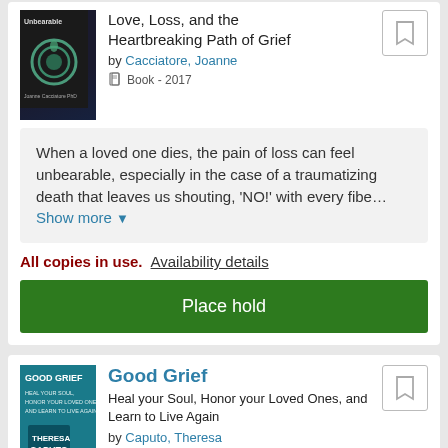[Figure (photo): Book cover for Unbearable grief book with dark background and teal floral design]
Love, Loss, and the Heartbreaking Path of Grief
by Cacciatore, Joanne
Book - 2017
When a loved one dies, the pain of loss can feel unbearable, especially in the case of a traumatizing death that leaves us shouting, 'NO!' with every fibe...Show more
All copies in use.  Availability details
Place hold
Good Grief
Heal your Soul, Honor your Loved Ones, and Learn to Live Again
by Caputo, Theresa
Book - 2017